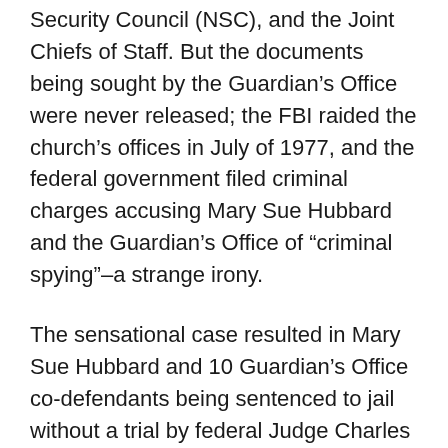Security Council (NSC), and the Joint Chiefs of Staff. But the documents being sought by the Guardian's Office were never released; the FBI raided the church's offices in July of 1977, and the federal government filed criminal charges accusing Mary Sue Hubbard and the Guardian's Office of “criminal spying”–a strange irony.
The sensational case resulted in Mary Sue Hubbard and 10 Guardian’s Office co-defendants being sentenced to jail without a trial by federal Judge Charles R. Richey, which led to the ultimate disbanding of Scientology’s Guardian’s Office.
This opened the way for a new senior corporation, “Church of Spiritual Technology”